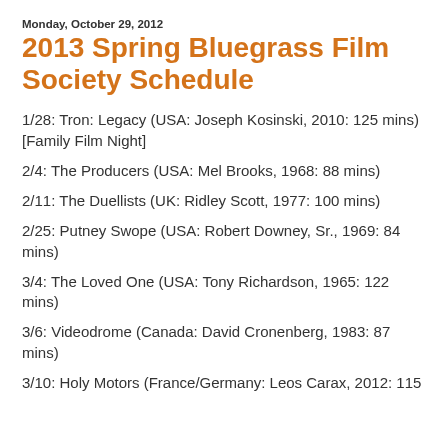Monday, October 29, 2012
2013 Spring Bluegrass Film Society Schedule
1/28: Tron: Legacy (USA: Joseph Kosinski, 2010: 125 mins) [Family Film Night]
2/4: The Producers (USA: Mel Brooks, 1968: 88 mins)
2/11: The Duellists (UK: Ridley Scott, 1977: 100 mins)
2/25: Putney Swope (USA: Robert Downey, Sr., 1969: 84 mins)
3/4: The Loved One (USA: Tony Richardson, 1965: 122 mins)
3/6: Videodrome (Canada: David Cronenberg, 1983: 87 mins)
3/10: Holy Motors (France/Germany: Leos Carax, 2012: 115